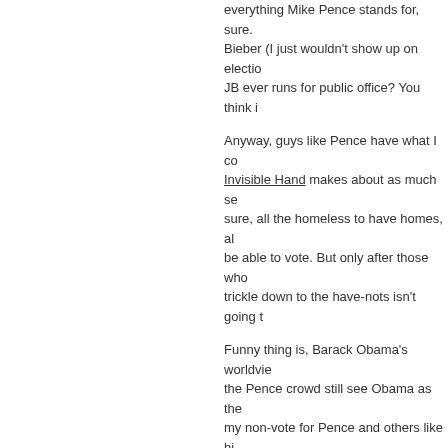everything Mike Pence stands for, sure. Bieber (I just wouldn't show up on election day if JB ever runs for public office? You think i
Anyway, guys like Pence have what I co... Invisible Hand makes about as much se... sure, all the homeless to have homes, al... be able to vote. But only after those who... trickle down to the have-nots isn't going t
Funny thing is, Barack Obama's worldvie... the Pence crowd still see Obama as the... my non-vote for Pence and others like hi... brothers of Heinrich Himmler.
I merely disagree with them.
Now then, what about my snarky, disresp... embrace him and tell him he's my brothe... streets who, interspersed with random ob... all woman are whores. I may wish him w... I'm not going to say to him, "I respect yo...